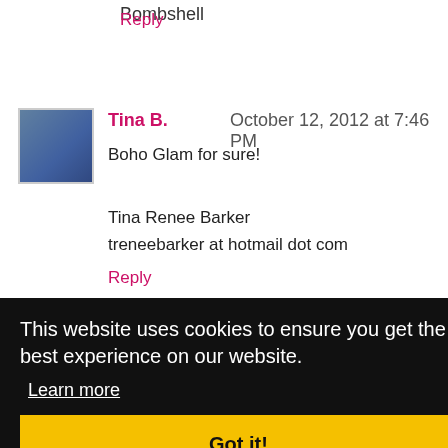Bombshell
Reply
Tina B.  October 12, 2012 at 7:46 PM
Boho Glam for sure!
Tina Renee Barker
treneebarker at hotmail dot com
Reply
This website uses cookies to ensure you get the best experience on our website.
Learn more
Got it!
BoHo Glam, but it varies from month to month :D